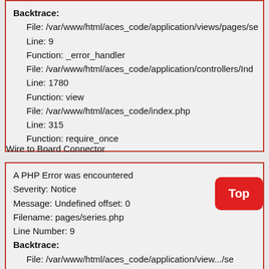Backtrace:
  File: /var/www/html/aces_code/application/views/pages/se
  Line: 9
  Function: _error_handler
  File: /var/www/html/aces_code/application/controllers/Ind
  Line: 1780
  Function: view
  File: /var/www/html/aces_code/index.php
  Line: 315
  Function: require_once
Wire to Board Connector
A PHP Error was encountered
Severity: Notice
Message: Undefined offset: 0
Filename: pages/series.php
Line Number: 9
Backtrace:
  File: /var/www/html/aces_code/application/view.../se
  Line: 9
  Function: _error_handler
  File: /var/www/html/aces_code/application/controllers/Ind
  Line: 1780
  Function: view